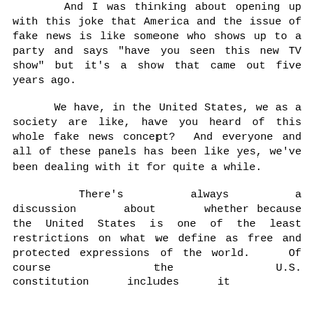And I was thinking about opening up with this joke that America and the issue of fake news is like someone who shows up to a party and says "have you seen this new TV show" but it's a show that came out five years ago.
We have, in the United States, we as a society are like, have you heard of this whole fake news concept? And everyone and all of these panels has been like yes, we've been dealing with it for quite a while.
There's always a discussion about whether because the United States is one of the least restrictions on what we define as free and protected expressions of the world. Of course the U.S. constitution includes it